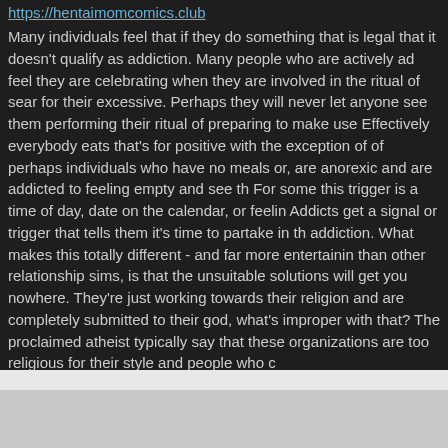https://hentaimomcomics.club
Many individuals feel that if they do something that is legal that it doesn't qualify as addiction. Many people who are actively ad feel they are celebrating when they are involved in the ritual of sear for their excessive. Perhaps they will never let anyone see them performing their ritual of preparing to make use Effectively everybody eats that's for positive with the exception of of perhaps individuals who have no meals or, are anorexic and are addicted to feeling empty and see th For some this trigger is a time of day, date on the calendar, or feelin Addicts get a signal or trigger that tells them it's time to partake in th addiction. What makes this totally different - and far more entertainin than other relationship sims, is that the unsuitable solutions will get you nowhere. They're just working towards their religion and are completely submitted to their god, what's improper with that? The proclaimed atheist typically say that these organizations are too religious for their style and people who c
webs